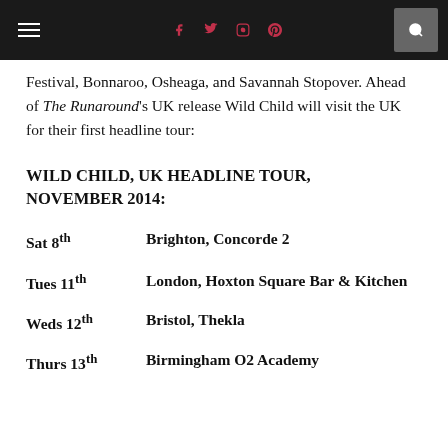≡  f  twitter  instagram  pinterest  🔍
Festival, Bonnaroo, Osheaga, and Savannah Stopover. Ahead of The Runaround's UK release Wild Child will visit the UK for their first headline tour:
WILD CHILD, UK HEADLINE TOUR, NOVEMBER 2014:
Sat 8th    Brighton, Concorde 2
Tues 11th    London, Hoxton Square Bar & Kitchen
Weds 12th    Bristol, Thekla
Thurs 13th    Birmingham O2 Academy